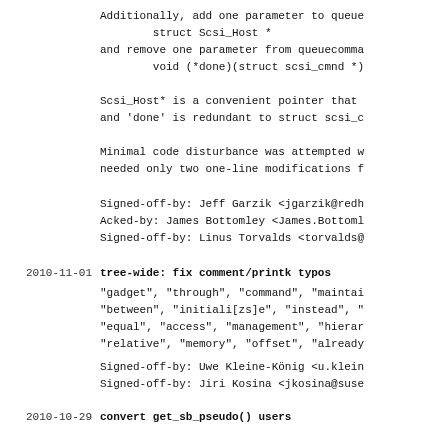Additionally, add one parameter to queue
        struct Scsi_Host *
and remove one parameter from queuecomma
        void (*done)(struct scsi_cmnd *)
Scsi_Host* is a convenient pointer that 
and 'done' is redundant to struct scsi_c
Minimal code disturbance was attempted w
needed only two one-line modifications f
Signed-off-by: Jeff Garzik <jgarzik@redh
Acked-by: James Bottomley <James.Bottoml
Signed-off-by: Linus Torvalds <torvalds@
2010-11-01  tree-wide: fix comment/printk typos
"gadget", "through", "command", "maintai
"between", "initiali[zs]e", "instead", "
"equal", "access", "management", "hierar
"relative", "memory", "offset", "already
Signed-off-by: Uwe Kleine-König <u.klein
Signed-off-by: Jiri Kosina <jkosina@suse
2010-10-29  convert get_sb_pseudo() users